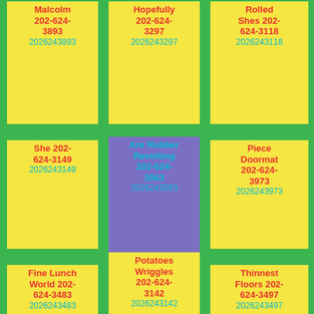Malcolm 202-624-3893 2026243893
Hopefully 202-624-3297 2026243297
Rolled Shes 202-624-3118 2026243118
She 202-624-3149 2026243149
Are Rubber Revolting 202-624-3063 2026243063
Piece Doormat 202-624-3973 2026243973
Fine Lunch World 202-624-3483 2026243483
Potatoes Wriggles 202-624-3142 2026243142
Thinnest Floors 202-624-3497 2026243497
Lent 202-624-3884
Remote Revenges 202-624-3630
In 202-624-3361